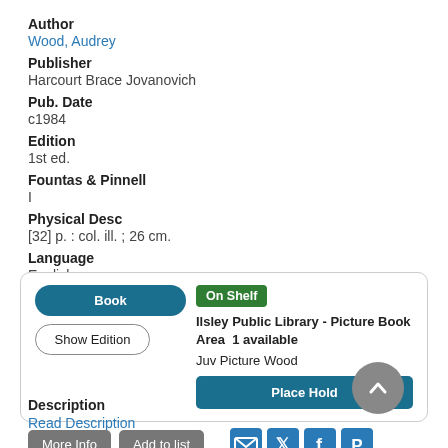Author
Wood, Audrey
Publisher
Harcourt Brace Jovanovich
Pub. Date
c1984
Edition
1st ed.
Fountas & Pinnell
I
Physical Desc
[32] p. : col. ill. ; 26 cm.
Language
English
[Figure (screenshot): Library catalog card showing Book and Show Edition buttons, On Shelf badge, Ilsley Public Library - Picture Book Area 1 available, Juv Picture Wood, Place Hold button]
Description
Read Description
More Info
Add to list